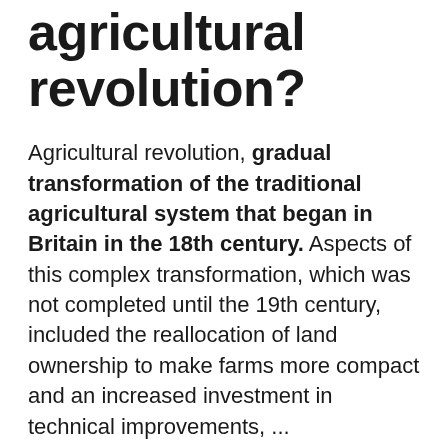agricultural revolution?
Agricultural revolution, gradual transformation of the traditional agricultural system that began in Britain in the 18th century. Aspects of this complex transformation, which was not completed until the 19th century, included the reallocation of land ownership to make farms more compact and an increased investment in technical improvements, ...
What is crop rotation?
crop rotation, the successive cultivation